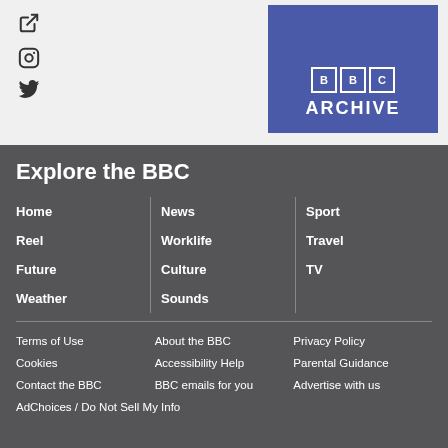[Figure (logo): BBC Archive logo box with blue background showing BBC squares and ARCHIVE text]
Explore the BBC
Home
News
Sport
Reel
Worklife
Travel
Future
Culture
TV
Weather
Sounds
Terms of Use
About the BBC
Privacy Policy
Cookies
Accessibility Help
Parental Guidance
Contact the BBC
BBC emails for you
Advertise with us
AdChoices / Do Not Sell My Info